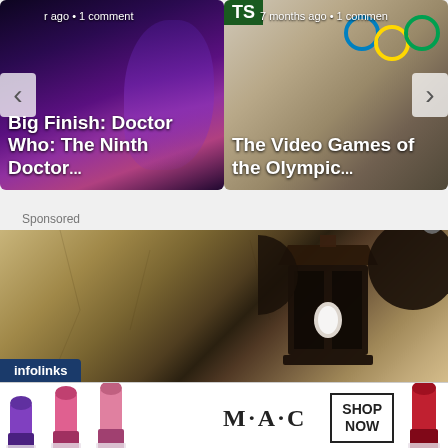[Figure (screenshot): Carousel of article cards. Left card: 'Big Finish: Doctor Who: The Ninth Doctor...' with sci-fi imagery. Right card: 'The Video Games of the Olympic...' with Olympic rings imagery. Navigation arrows on sides.]
r ago • 1 comment
7 months ago • 1 comment
Big Finish: Doctor Who: The Ninth Doctor...
The Video Games of the Olympic...
Sponsored
[Figure (photo): Infolinks sponsored advertisement showing a close-up of a stone wall with a dark lantern/light fixture mounted on it. The Infolinks badge appears in the bottom left corner.]
[Figure (photo): MAC Cosmetics advertisement showing lipsticks in purple, pink, and red colors with the MAC logo and a SHOP NOW button.]